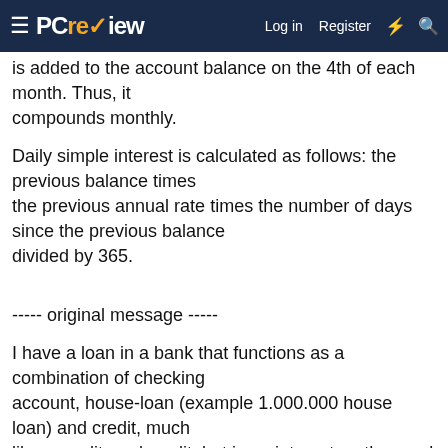PCreview — Log in | Register
is added to the account balance on the 4th of each month. Thus, it compounds monthly.
Daily simple interest is calculated as follows: the previous balance times the previous annual rate times the number of days since the previous balance divided by 365.
----- original message -----
I have a loan in a bank that functions as a combination of checking account, house-loan (example 1.000.000 house loan) and credit, much like a credit card credit, but i pay interest on the used money from the day i spend them. It has a credit limit and no mortage